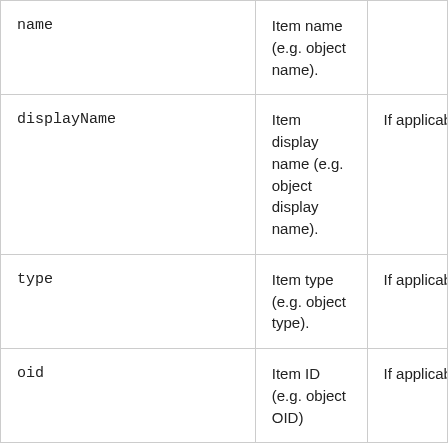| name | Item name (e.g. object name). |  |
| displayName | Item display name (e.g. object display name). | If applicab |
| type | Item type (e.g. object type). | If applicab |
| oid | Item ID (e.g. object OID) | If applicab |